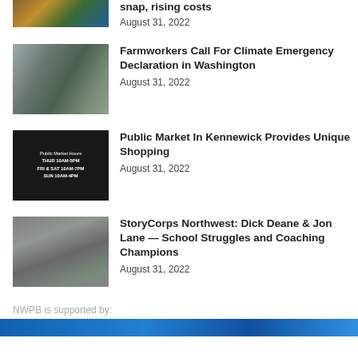[Figure (photo): Partial image at top - appears to be food/market items, cropped]
snap, rising costs
August 31, 2022
[Figure (photo): Protest scene with people holding signs outdoors]
Farmworkers Call For Climate Emergency Declaration in Washington
August 31, 2022
[Figure (photo): Sign showing Public Market Hours: THUR 10AM-5PM, FRI & SAT 10AM-7PM, SUN 10AM-4PM]
Public Market In Kennewick Provides Unique Shopping
August 31, 2022
[Figure (photo): Two older men standing together, smiling]
StoryCorps Northwest: Dick Deane & Jon Lane — School Struggles and Coaching Champions
August 31, 2022
NWPB is supported by:
[Figure (photo): Blue image strip at bottom, partial]